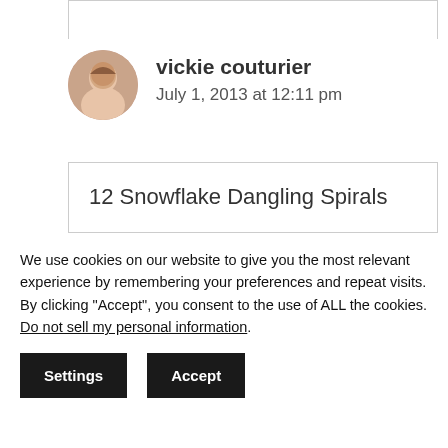vickie couturier
July 1, 2013 at 12:11 pm
12 Snowflake Dangling Spirals
We use cookies on our website to give you the most relevant experience by remembering your preferences and repeat visits. By clicking “Accept”, you consent to the use of ALL the cookies. Do not sell my personal information.
Settings
Accept